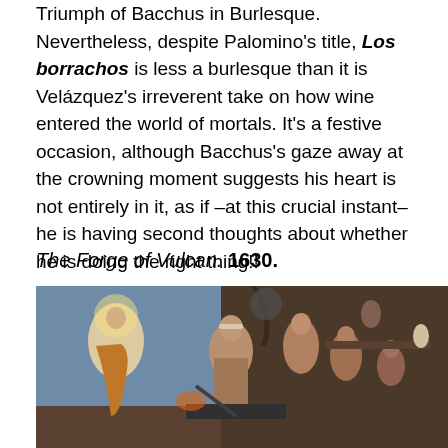Triumph of Bacchus in Burlesque. Nevertheless, despite Palomino's title, Los borrachos is less a burlesque than it is Velázquez's irreverent take on how wine entered the world of mortals. It's a festive occasion, although Bacchus's gaze away at the crowning moment suggests his heart is not entirely in it, as if –at this crucial instant– he is having second thoughts about whether he is doing the right thing!!
The Forge of Vulcan. 1630.
[Figure (photo): Painting of The Forge of Vulcan by Velázquez (1630), showing a radiant figure on the left (Apollo) and several muscular male figures working in a forge, with tools and a furnace in the background.]